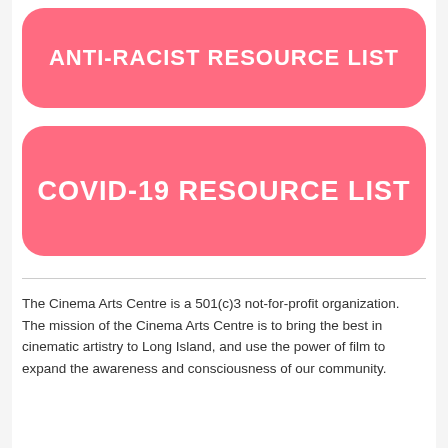ANTI-RACIST RESOURCE LIST
COVID-19 RESOURCE LIST
The Cinema Arts Centre is a 501(c)3 not-for-profit organization. The mission of the Cinema Arts Centre is to bring the best in cinematic artistry to Long Island, and use the power of film to expand the awareness and consciousness of our community.